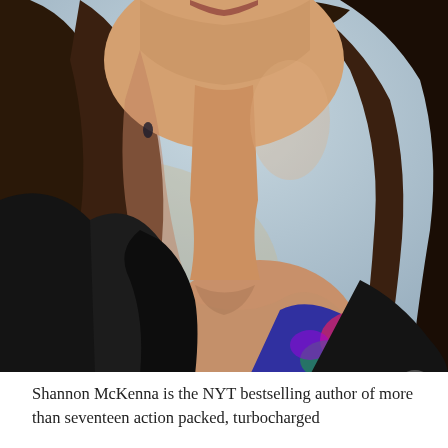[Figure (photo): Portrait photo of Shannon McKenna, a woman with long dark brown hair, wearing a black blazer over a colorful patterned top, photographed against a blurred blue/beige background. The photo is cropped from just below the nose/lips area down to the chest.]
Shannon McKenna is the NYT bestselling author of more than seventeen action packed, turbocharged